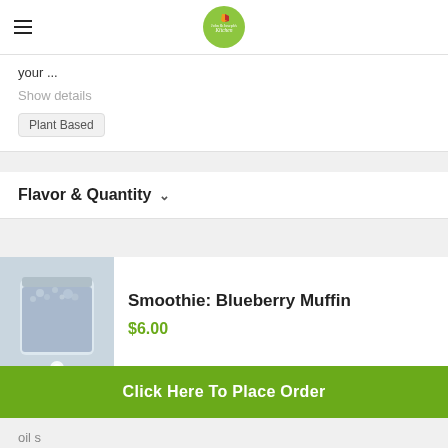[Figure (logo): John & Joseph's Kitchen circular green logo with leaf/fork icon and script text]
your ...
Show details
Plant Based
Flavor & Quantity
[Figure (photo): Top-down view of a jar containing a blueberry muffin smoothie, light blue-purple color]
Smoothie: Blueberry Muffin
$6.00
Click Here To Place Order
oil s